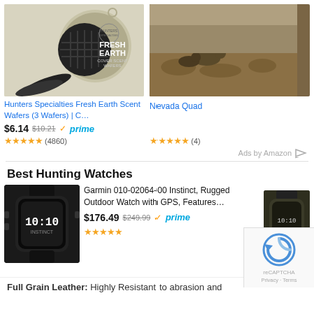[Figure (photo): Hunters Specialties Fresh Earth scent wafer product image with safety pins]
[Figure (photo): Nevada Quad - outdoor hunting scene with animals on dirt ground]
Hunters Specialties Fresh Earth Scent Wafers (3 Wafers) | C…
$6.14  $10.21  ✓prime
★★★★★ (4860)
Nevada Quad
★★★★★ (4)
Ads by Amazon ▷
Best Hunting Watches
[Figure (photo): Garmin Instinct rugged outdoor GPS watch, black, showing 10:10 on display]
Garmin 010-02064-00 Instinct, Rugged Outdoor Watch with GPS, Features…
$176.49  $249.99  ✓prime
★★★★★
[Figure (photo): Second Garmin watch model in olive/dark green color]
Ads by Amaz…
Full Grain Leather: Highly Resistant to abrasion and
[Figure (other): reCAPTCHA widget overlay with Privacy - Terms links]